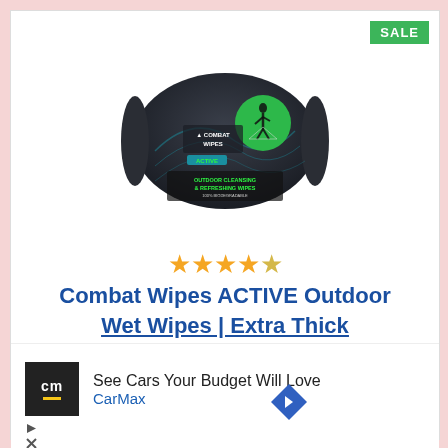SALE
[Figure (photo): Combat Wipes ACTIVE Outdoor Cleansing & Refreshing Wipes package — dark colored pouch with green logo and hiker silhouette]
★★★★☆ (4.5 stars)
Combat Wipes ACTIVE Outdoor Wet Wipes | Extra Thick
[Figure (infographic): CarMax advertisement banner: 'See Cars Your Budget Will Love / CarMax' with CM logo and directional arrow icon]